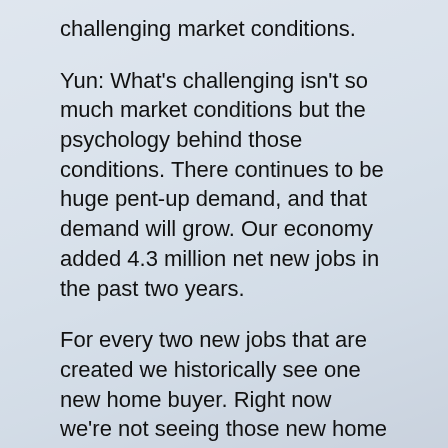challenging market conditions.
Yun: What's challenging isn't so much market conditions but the psychology behind those conditions. There continues to be huge pent-up demand, and that demand will grow. Our economy added 4.3 million net new jobs in the past two years.
For every two new jobs that are created we historically see one new home buyer. Right now we're not seeing those new home buyers because they're sitting on the fence. Once they look past the headlines, they'll see that this is actually a very good time to buy: Inventories are flush, so there are lots of homes to choose from; prices are